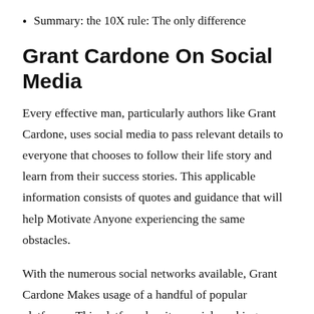Summary: the 10X rule: The only difference
Grant Cardone On Social Media
Every effective man, particularly authors like Grant Cardone, uses social media to pass relevant details to everyone that chooses to follow their life story and learn from their success stories. This applicable information consists of quotes and guidance that will help Motivate Anyone experiencing the same obstacles.
With the numerous social networks available, Grant Cardone Makes usage of a handful of popular platforms. This platform has its special working methods and the information Grant Cardone passes